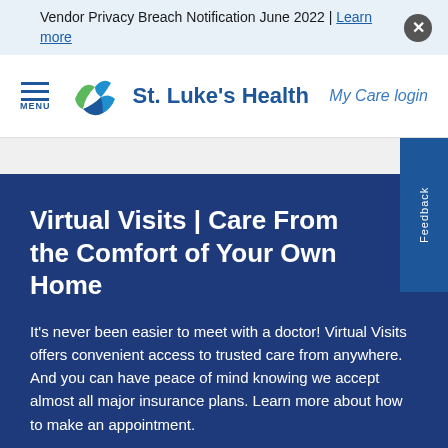Vendor Privacy Breach Notification June 2022 | Learn more
[Figure (logo): St. Luke's Health logo with green and blue cross/star icon]
My Care login
Virtual Visits | Care From the Comfort of Your Own Home
It's never been easier to meet with a doctor! Virtual Visits offers convenient access to trusted care from anywhere. And you can have peace of mind knowing we accept almost all major insurance plans. Learn more about how to make an appointment.